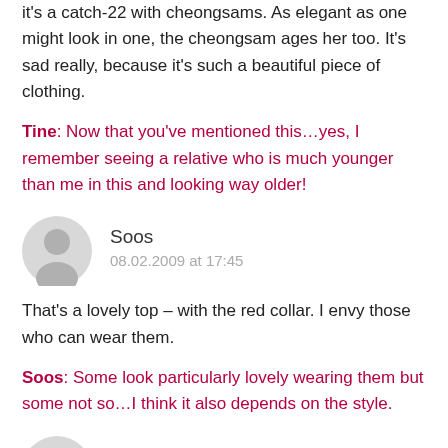it's a catch-22 with cheongsams. As elegant as one might look in one, the cheongsam ages her too. It's sad really, because it's such a beautiful piece of clothing.
Tine: Now that you've mentioned this…yes, I remember seeing a relative who is much younger than me in this and looking way older!
Soos
08.02.2009 at 17:45
That's a lovely top – with the red collar. I envy those who can wear them.
Soos: Some look particularly lovely wearing them but some not so…I think it also depends on the style.
Leon